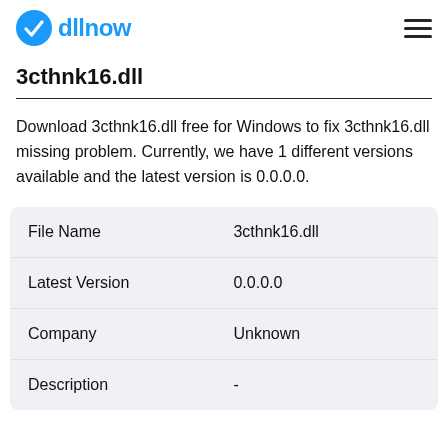dllnow
3cthnk16.dll
Download 3cthnk16.dll free for Windows to fix 3cthnk16.dll missing problem. Currently, we have 1 different versions available and the latest version is 0.0.0.0.
| File Name | 3cthnk16.dll |
| --- | --- |
| Latest Version | 0.0.0.0 |
| Company | Unknown |
| Description | - |